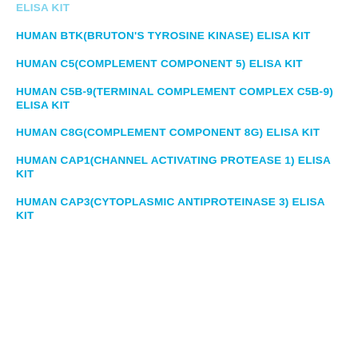ELISA KIT
HUMAN BTK(BRUTON'S TYROSINE KINASE) ELISA KIT
HUMAN C5(COMPLEMENT COMPONENT 5) ELISA KIT
HUMAN C5B-9(TERMINAL COMPLEMENT COMPLEX C5B-9) ELISA KIT
HUMAN C8G(COMPLEMENT COMPONENT 8G) ELISA KIT
HUMAN CAP1(CHANNEL ACTIVATING PROTEASE 1) ELISA KIT
HUMAN CAP3(CYTOPLASMIC ANTIPROTEINASE 3) ELISA KIT